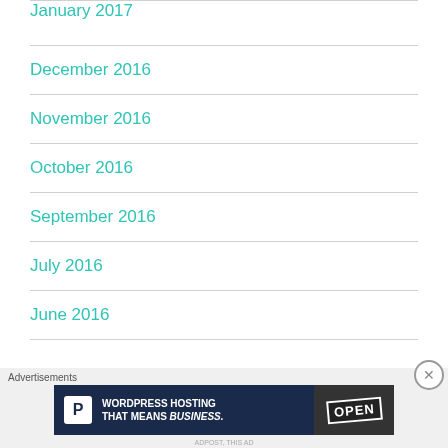January 2017
December 2016
November 2016
October 2016
September 2016
July 2016
June 2016
Advertisements
[Figure (other): WordPress Hosting advertisement banner with P logo and OPEN sign image. Text: WORDPRESS HOSTING THAT MEANS BUSINESS.]